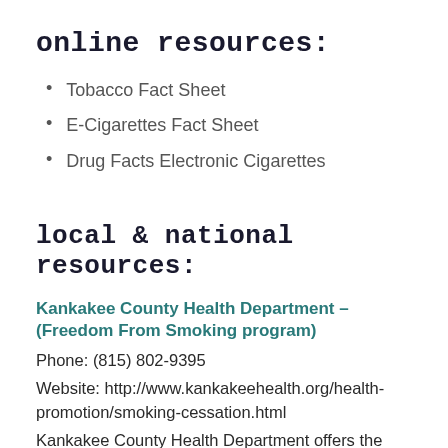online resources:
Tobacco Fact Sheet
E-Cigarettes Fact Sheet
Drug Facts Electronic Cigarettes
local & national resources:
Kankakee County Health Department – (Freedom From Smoking program)
Phone: (815) 802-9395
Website: http://www.kankakeehealth.org/health-promotion/smoking-cessation.html
Kankakee County Health Department offers the American Lung Association's Freedom From